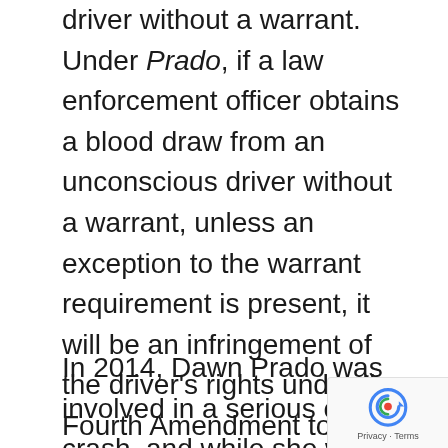driver without a warrant. Under Prado, if a law enforcement officer obtains a blood draw from an unconscious driver without a warrant, unless an exception to the warrant requirement is present, it will be an infringement of the driver's rights under the Fourth Amendment to the United States Constitution to be free from unreasonable searches and seizures, and the test results may be suppressed.
In 2014, Dawn Prado was involved in a serious car crash, and while she was unconscious, law enforcement obtained a sample of her blood for chemical testing. The officer never obtained a search warrant for the blood draw, and instead relied on the incapacitated driver